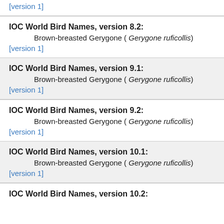[version 1]
IOC World Bird Names, version 8.2:
Brown-breasted Gerygone ( Gerygone ruficollis)
[version 1]
IOC World Bird Names, version 9.1:
Brown-breasted Gerygone ( Gerygone ruficollis)
[version 1]
IOC World Bird Names, version 9.2:
Brown-breasted Gerygone ( Gerygone ruficollis)
[version 1]
IOC World Bird Names, version 10.1:
Brown-breasted Gerygone ( Gerygone ruficollis)
[version 1]
IOC World Bird Names, version 10.2: